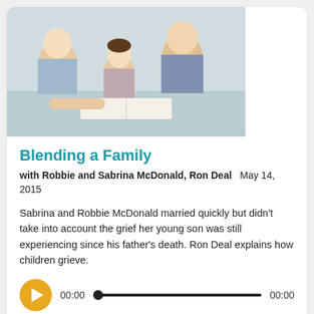[Figure (photo): Family reading a book together — parents and children looking at an open book]
Blending a Family
with Robbie and Sabrina McDonald, Ron Deal   May 14, 2015
Sabrina and Robbie McDonald married quickly but didn't take into account the grief her young son was still experiencing since his father's death. Ron Deal explains how children grieve.
[Figure (other): Audio player with play button, time display 00:00, progress bar, and end time 00:00]
[Figure (photo): Couple with child outdoors, second podcast card image]